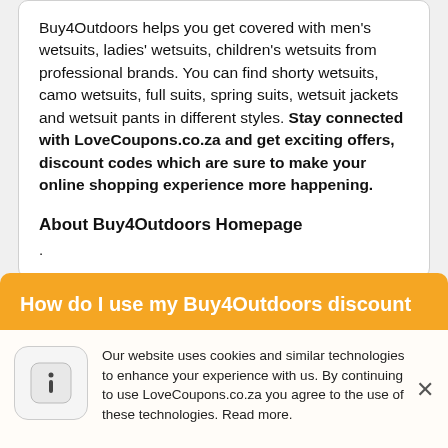Buy4Outdoors helps you get covered with men's wetsuits, ladies' wetsuits, children's wetsuits from professional brands. You can find shorty wetsuits, camo wetsuits, full suits, spring suits, wetsuit jackets and wetsuit pants in different styles. Stay connected with LoveCoupons.co.za and get exciting offers, discount codes which are sure to make your online shopping experience more happening.
About Buy4Outdoors Homepage
.
How do I use my Buy4Outdoors discount
Our website uses cookies and similar technologies to enhance your experience with us. By continuing to use LoveCoupons.co.za you agree to the use of these technologies. Read more.